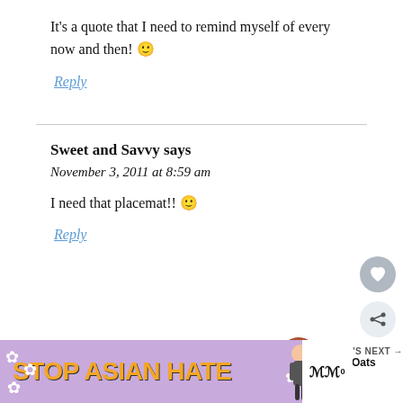It's a quote that I need to remind myself of every now and then! 🙂
Reply
Sweet and Savvy says
November 3, 2011 at 8:59 am
I need that placemat!! 🙂
Reply
[Figure (other): STOP ASIAN HATE advertisement banner with purple background, orange bold text, white flower decorations, and anime-style figure]
[Figure (other): What's Next widget showing a food thumbnail (Cold Oats)]
[Figure (other): Heart icon button (like/favorite)]
[Figure (other): Share icon button]